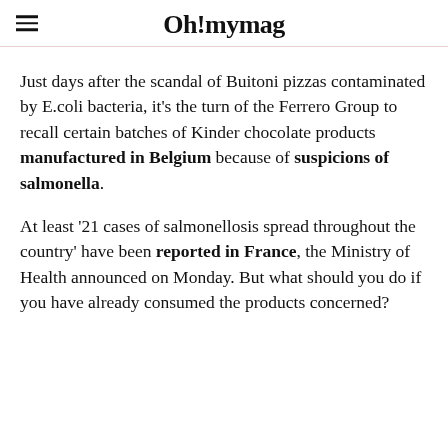Oh! mymag
Just days after the scandal of Buitoni pizzas contaminated by E.coli bacteria, it's the turn of the Ferrero Group to recall certain batches of Kinder chocolate products manufactured in Belgium because of suspicions of salmonella.
At least '21 cases of salmonellosis spread throughout the country' have been reported in France, the Ministry of Health announced on Monday. But what should you do if you have already consumed the products concerned?